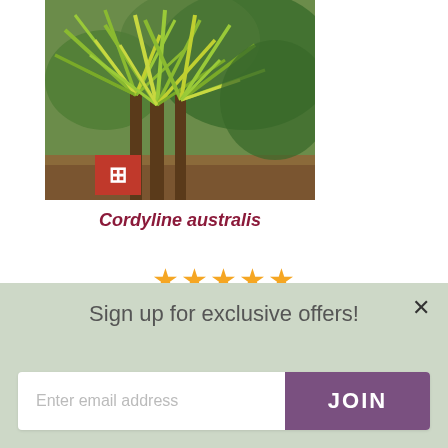[Figure (photo): Photo of Cordyline australis palm-like plant with long green and yellow striped leaves, with a red logo overlay in the bottom-left corner of the image.]
Cordyline australis
[Figure (infographic): Five orange star rating icons]
2 Reviews
Sun • Grows in: shade: sunBorders or semi • Flower
Sign up for exclusive offers!
Enter email address
JOIN